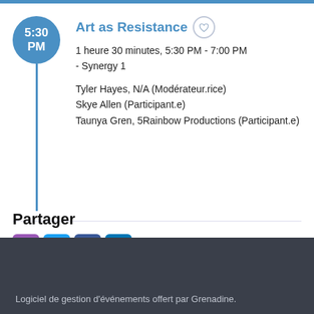Art as Resistance
1 heure 30 minutes, 5:30 PM - 7:00 PM
- Synergy 1
Tyler Hayes, N/A (Modérateur.rice)
Skye Allen (Participant.e)
Taunya Gren, 5Rainbow Productions (Participant.e)
Partager
[Figure (infographic): Share icons: email (purple), Twitter (blue), Facebook (dark blue), LinkedIn (blue)]
Logiciel de gestion d'événements offert par Grenadine.